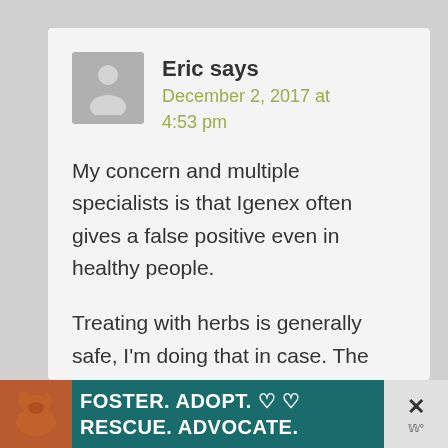Eric says
December 2, 2017 at 4:53 pm
My concern and multiple specialists is that Igenex often gives a false positive even in healthy people.
Treating with herbs is generally safe, I'm doing that in case. The “chronic
[Figure (infographic): Advertisement banner with dog image. Text reads: FOSTER. ADOPT. RESCUE. ADVOCATE. with heart symbols. Close button with X on right side.]